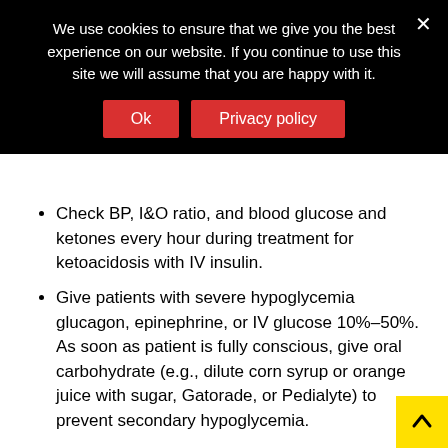We use cookies to ensure that we give you the best experience on our website. If you continue to use this site we will assume that you are happy with it.
Check BP, I&O ratio, and blood glucose and ketones every hour during treatment for ketoacidosis with IV insulin.
Give patients with severe hypoglycemia glucagon, epinephrine, or IV glucose 10%–50%. As soon as patient is fully conscious, give oral carbohydrate (e.g., dilute corn syrup or orange juice with sugar, Gatorade, or Pedialyte) to prevent secondary hypoglycemia.
Patient & Family Education
Learn correct injection technique.
Inject insulin into the abdomen rather than a near musc that will be heavily used, if engaged in active sports